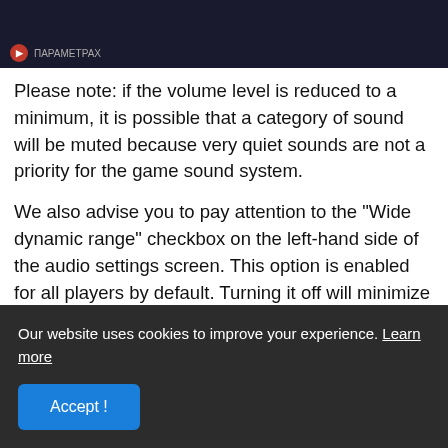[Figure (screenshot): Dark video/media player top bar with a red circle icon and small label text]
Please note: if the volume level is reduced to a minimum, it is possible that a category of sound will be muted because very quiet sounds are not a priority for the game sound system.
We also advise you to pay attention to the "Wide dynamic range" checkbox on the left-hand side of the audio settings screen. This option is enabled for all players by default. Turning it off will minimize the difference in volume between the loudest and the quietest sounds in the game.
Our website uses cookies to improve your experience. Learn more
If you are using a laptop or other device with